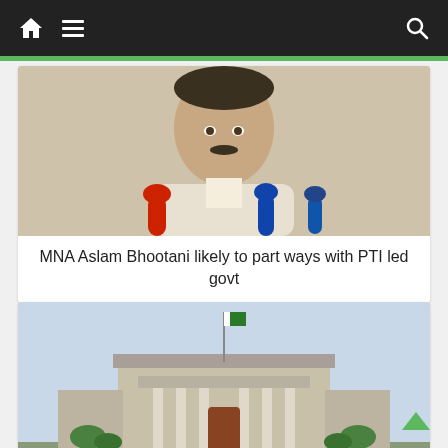Navigation bar with home, menu, and search icons
[Figure (photo): Photo of MNA Aslam Bhootani speaking at a press conference with microphones in front of him]
MNA Aslam Bhootani likely to part ways with PTI led govt
[Figure (photo): Photo of IHC (Islamabad High Court) building exterior with Pakistani flag on a pole]
IHC bars ECP from taking action against PM